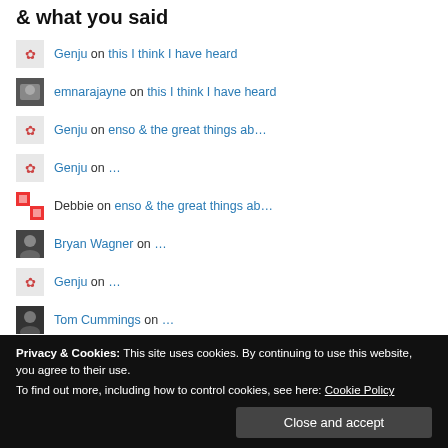& what you said
Genju on this I think I have heard
emnarajayne on this I think I have heard
Genju on enso & the great things ab…
Genju on …
Debbie on enso & the great things ab…
Bryan Wagner on …
Genju on …
Tom Cummings on …
Genju on …
(null) Olds on …
Privacy & Cookies: This site uses cookies. By continuing to use this website, you agree to their use. To find out more, including how to control cookies, see here: Cookie Policy Close and accept